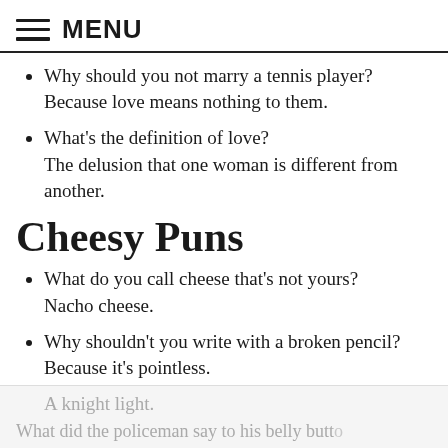MENU
Why should you not marry a tennis player? Because love means nothing to them.
What's the definition of love? The delusion that one woman is different from another.
Cheesy Puns
What do you call cheese that's not yours? Nacho cheese.
Why shouldn't you write with a broken pencil? Because it's pointless.
What do you get when you put a candle in a suit of armor?
A knight light.
What did the policeman say to his belly button?